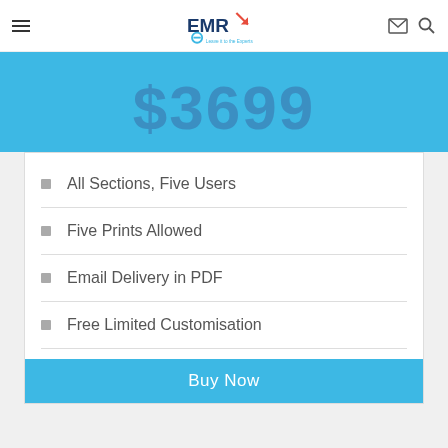EMR - Leave it to the Experts
$3699
All Sections, Five Users
Five Prints Allowed
Email Delivery in PDF
Free Limited Customisation
Post Sales Analyst Support
50% Discount on Next Update
Buy Now